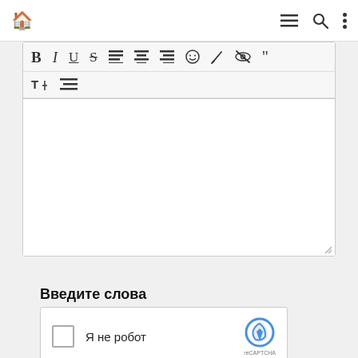[Figure (screenshot): Navigation bar with home icon (blue house) on left, and hamburger menu, search, and vertical dots icons on right]
[Figure (screenshot): Text editor toolbar with formatting buttons: B (bold), I (italic), U (underline), S (strikethrough), align left, align center, align right, emoji, pen/edit, eye-slash, quote, text size, list; followed by an empty white text area with resize handle]
Введите слова
[Figure (screenshot): reCAPTCHA widget with checkbox, text 'Я не робот', and reCAPTCHA logo with 'reCAPTCHA' label]